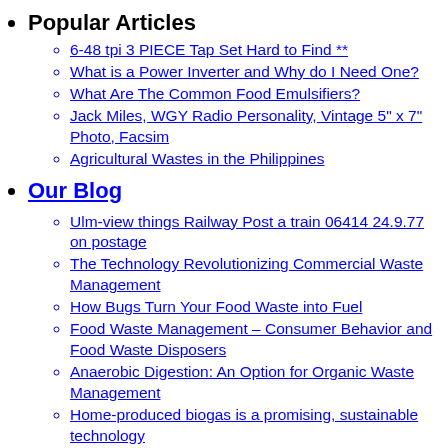Popular Articles
6-48 tpi 3 PIECE Tap Set Hard to Find **
What is a Power Inverter and Why do I Need One?
What Are The Common Food Emulsifiers?
Jack Miles, WGY Radio Personality, Vintage 5" x 7" Photo, Facsim
Agricultural Wastes in the Philippines
Our Blog
Ulm-view things Railway Post a train 06414 24.9.77 on postage
The Technology Revolutionizing Commercial Waste Management
How Bugs Turn Your Food Waste into Fuel
Food Waste Management – Consumer Behavior and Food Waste Disposers
Anaerobic Digestion: An Option for Organic Waste Management
Home-produced biogas is a promising, sustainable technology
Follow on Facebook